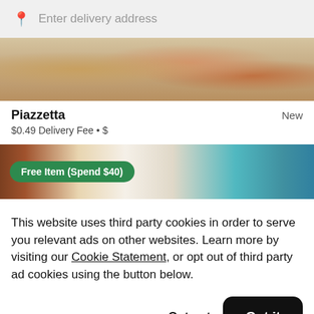Enter delivery address
[Figure (photo): Top-down view of Italian food dishes on a table]
Piazzetta
$0.49 Delivery Fee • $
New
[Figure (photo): Promotional banner with colorful desserts and a green badge reading 'Free Item (Spend $40)']
This website uses third party cookies in order to serve you relevant ads on other websites. Learn more by visiting our Cookie Statement, or opt out of third party ad cookies using the button below.
Opt out
Got it